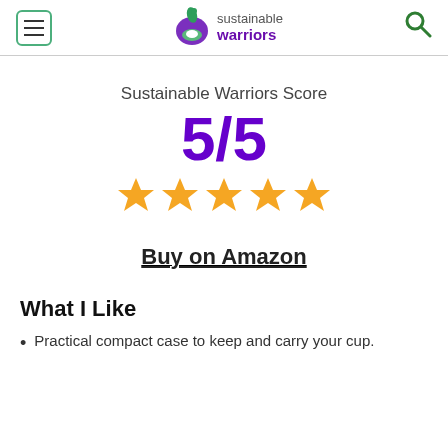sustainable warriors
Sustainable Warriors Score
5/5
[Figure (other): Five gold star rating icons]
Buy on Amazon
What I Like
Practical compact case to keep and carry your cup.